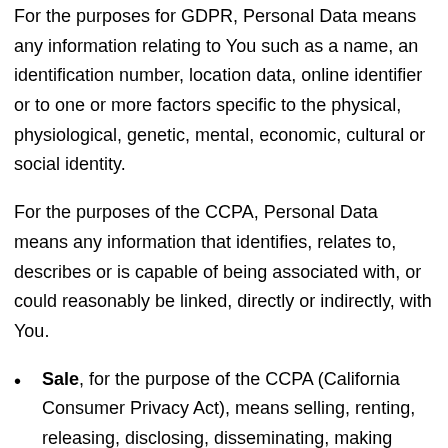For the purposes for GDPR, Personal Data means any information relating to You such as a name, an identification number, location data, online identifier or to one or more factors specific to the physical, physiological, genetic, mental, economic, cultural or social identity.
For the purposes of the CCPA, Personal Data means any information that identifies, relates to, describes or is capable of being associated with, or could reasonably be linked, directly or indirectly, with You.
Sale, for the purpose of the CCPA (California Consumer Privacy Act), means selling, renting, releasing, disclosing, disseminating, making available, transferring, or otherwise communicating orally, in writing, or by electronic or other means, a